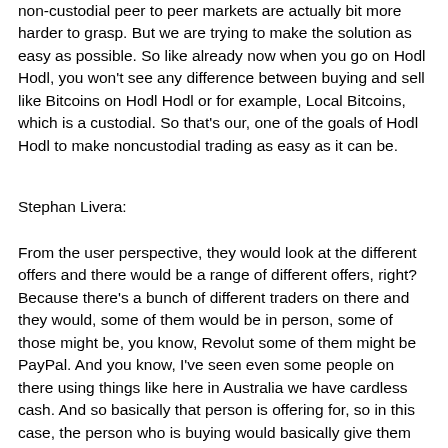non-custodial peer to peer markets are actually bit more harder to grasp. But we are trying to make the solution as easy as possible. So like already now when you go on Hodl Hodl, you won't see any difference between buying and sell like Bitcoins on Hodl Hodl or for example, Local Bitcoins, which is a custodial. So that's our, one of the goals of Hodl Hodl to make noncustodial trading as easy as it can be.
Stephan Livera:
From the user perspective, they would look at the different offers and there would be a range of different offers, right? Because there's a bunch of different traders on there and they would, some of them would be in person, some of those might be, you know, Revolut some of them might be PayPal. And you know, I've seen even some people on there using things like here in Australia we have cardless cash. And so basically that person is offering for, so in this case, the person who is buying would basically give them like an ATM code that that seller would go and use to actually take the cash out and then release the Bitcoins to the individual who's buying. There's some difference there.